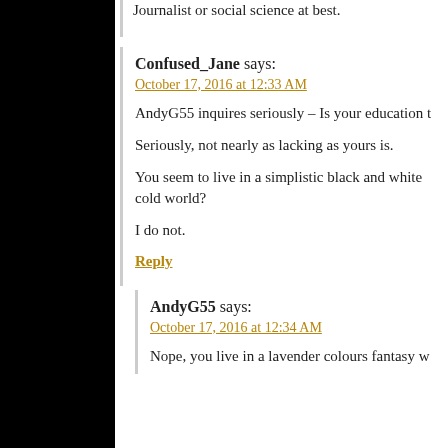Journalist or social science at best.
Confused_Jane says:
October 17, 2016 at 12:33 AM
AndyG55 inquires seriously – Is your education t
Seriously, not nearly as lacking as yours is.
You seem to live in a simplistic black and white cold world?
I do not.
Reply
AndyG55 says:
October 17, 2016 at 12:34 AM
Nope, you live in a lavender colours fantasy w